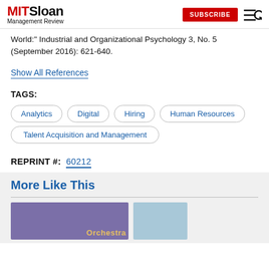MIT Sloan Management Review — SUBSCRIBE
World:" Industrial and Organizational Psychology 3, No. 5 (September 2016): 621-640.
Show All References
TAGS:
Analytics
Digital
Hiring
Human Resources
Talent Acquisition and Management
REPRINT #:  60212
More Like This
[Figure (photo): Two thumbnail images below 'More Like This' section header — one purple-toned image with 'Orchestra' text overlay, one light blue image.]